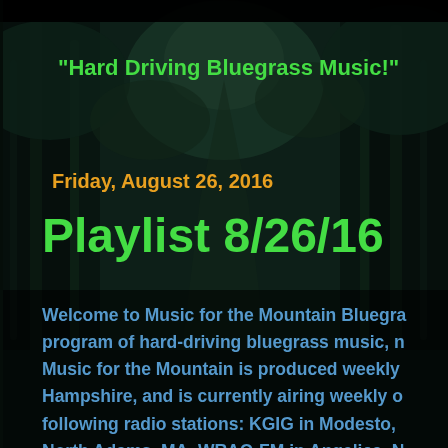[Figure (photo): Dark forest path background with dense trees and foliage, dark teal/green tones]
"Hard Driving Bluegrass Music!"
Friday, August 26, 2016
Playlist 8/26/16
Welcome to Music for the Mountain Bluegrass program of hard-driving bluegrass music, n Music for the Mountain is produced weekly i Hampshire, and is currently airing weekly on following radio stations: KGIG in Modesto, C North Adams, MA, WRAQ-FM in Angelica, N in Clay, WV, Neopa Community Radio in Ca Boston Free Radio, Bumps Radio, Channel c